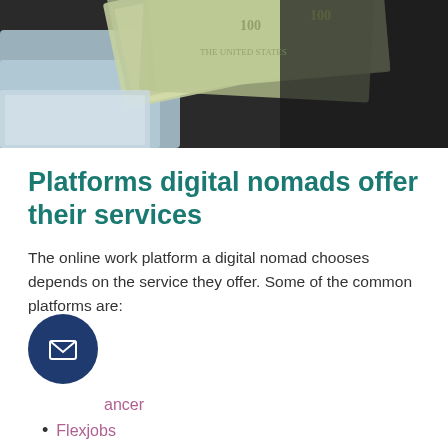[Figure (photo): Close-up photo of US dollar bills fanned out on a dark surface, with a silver/grey fabric or card partially visible. The image is cropped at the top portion showing the money arrangement.]
Platforms digital nomads offer their services
The online work platform a digital nomad chooses depends on the service they offer. Some of the common platforms are:
[Figure (illustration): Dark blue circular contact/email button with white envelope icon]
ancer
Flexjobs